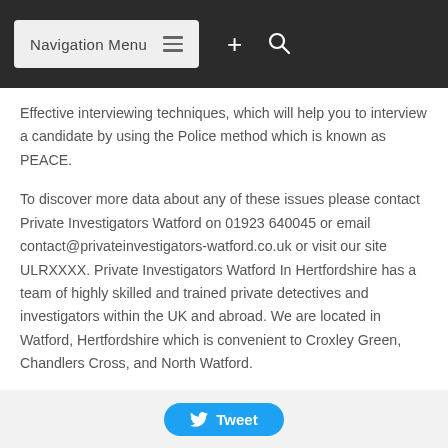Navigation Menu
Effective interviewing techniques, which will help you to interview a candidate by using the Police method which is known as PEACE.
To discover more data about any of these issues please contact Private Investigators Watford on 01923 640045 or email contact@privateinvestigators-watford.co.uk or visit our site ULRXXXX. Private Investigators Watford In Hertfordshire has a team of highly skilled and trained private detectives and investigators within the UK and abroad. We are located in Watford, Hertfordshire which is convenient to Croxley Green, Chandlers Cross, and North Watford.
Tweet